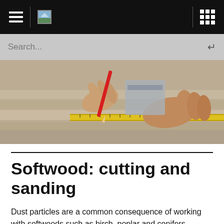Navigation bar with hamburger menu, logo, and grid icon
Search...
[Figure (photo): Close-up of hands using a red pencil and a yellow ruler/measuring tape to mark a measurement on a piece of light-colored wood on a workbench]
Softwood: cutting and sanding
Dust particles are a common consequence of working with softwoods such as birch, poplar and conifers. Sawing and cutting